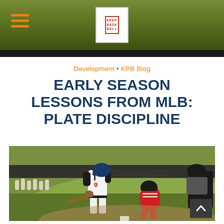Development • KPB Blog — Keep Base Ball logo header with hamburger menu
Development • KPB Blog
EARLY SEASON LESSONS FROM MLB: PLATE DISCIPLINE
[Figure (photo): Baseball player wearing jersey number 9 swinging a bat at home plate, with a catcher in red and white uniform crouching behind home plate, and an umpire visible on the right. Background shows a green hill, dark outfield wall, and spectators. Sports action photography taken at a baseball field.]